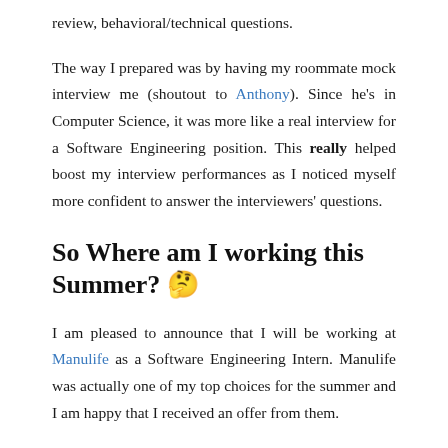review, behavioral/technical questions.
The way I prepared was by having my roommate mock interview me (shoutout to Anthony). Since he’s in Computer Science, it was more like a real interview for a Software Engineering position. This really helped boost my interview performances as I noticed myself more confident to answer the interviewers’ questions.
So Where am I working this Summer? 🤔
I am pleased to announce that I will be working at Manulife as a Software Engineering Intern. Manulife was actually one of my top choices for the summer and I am happy that I received an offer from them.